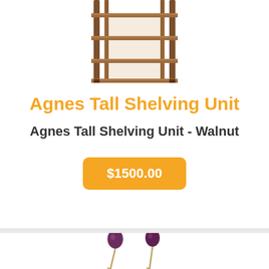[Figure (photo): A wooden tall shelving unit / bookcase with multiple shelves in walnut finish, photographed against a white background. Only the lower portion of the unit is visible (top is cropped).]
Agnes Tall Shelving Unit
Agnes Tall Shelving Unit - Walnut
$1500.00
[Figure (photo): Two decorative earrings with purple/dark gemstones on long pins, partially visible at the bottom of the page.]